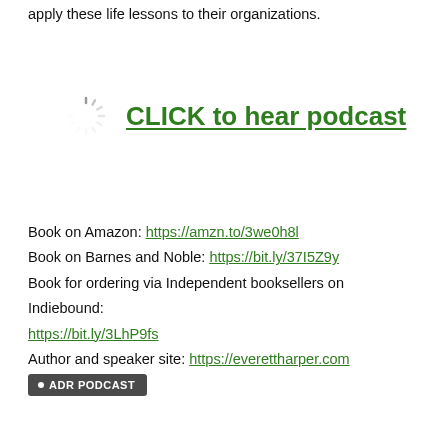apply these life lessons to their organizations.
[Figure (other): Loading spinner icon (circular dashed spinner) next to a green bold underlined link text 'CLICK to hear podcast']
Book on Amazon: https://amzn.to/3we0h8l
Book on Barnes and Noble: https://bit.ly/37I5Z9y
Book for ordering via Independent booksellers on Indiebound: https://bit.ly/3LhP9fs
Author and speaker site: https://everettharper.com
ADR PODCAST